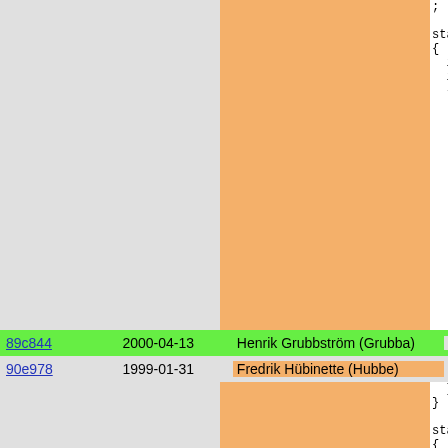| hash | date | author | code |
| --- | --- | --- | --- |
| 89c844 | 2000-04-13 | Henrik Grubbström (Grubba) | if(f->ma |
| 90e978 | 1999-01-31 | Fredrik Hübinette (Hubbe) | if(f->so
}
}

static void
{
  gc_check_t
} |
| a5bd2b | 2000-06-10 | Martin Stjernholm | static void |
| 90e978 | 1999-01-31 | Fredrik Hübinette (Hubbe) | {
  if(!f) re |
| e2d9e6 | 2000-06-10 | Martin Stjernholm | if(f->curr
if(f->cont
if(f->conf
if(f->mali |